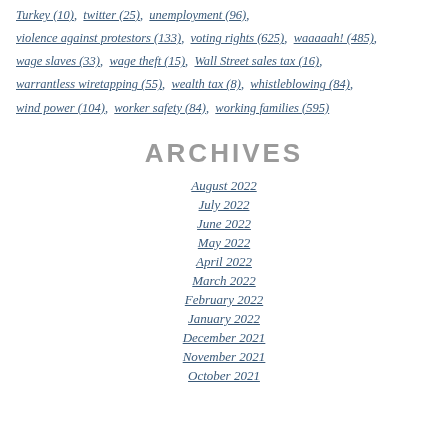Turkey (10),  twitter (25),  unemployment (96),  violence against protestors (133),  voting rights (625),  waaaaah! (485),  wage slaves (33),  wage theft (15),  Wall Street sales tax (16),  warrantless wiretapping (55),  wealth tax (8),  whistleblowing (84),  wind power (104),  worker safety (84),  working families (595)
ARCHIVES
August 2022
July 2022
June 2022
May 2022
April 2022
March 2022
February 2022
January 2022
December 2021
November 2021
October 2021